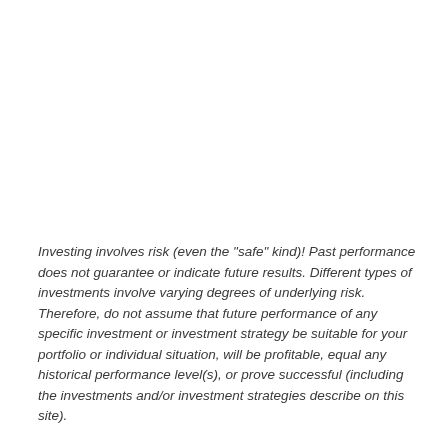Investing involves risk (even the "safe" kind)! Past performance does not guarantee or indicate future results. Different types of investments involve varying degrees of underlying risk. Therefore, do not assume that future performance of any specific investment or investment strategy be suitable for your portfolio or individual situation, will be profitable, equal any historical performance level(s), or prove successful (including the investments and/or investment strategies describe on this site).